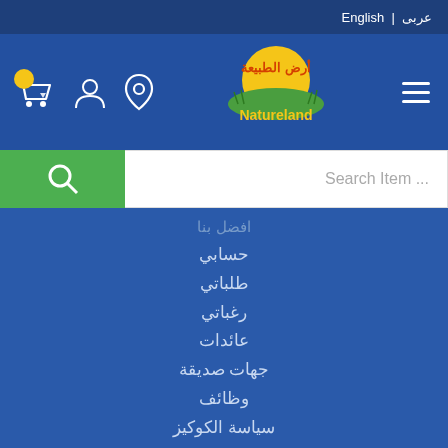English | عربى
[Figure (logo): Natureland (أرض الطبيعة) logo with sun and grass, navigation bar with cart, user, location icons and hamburger menu]
Search Item ...
افضل بنا
حسابي
طلباتي
رغباتي
عائدات
جهات صديقة
وظائف
سياسة الكوكيز